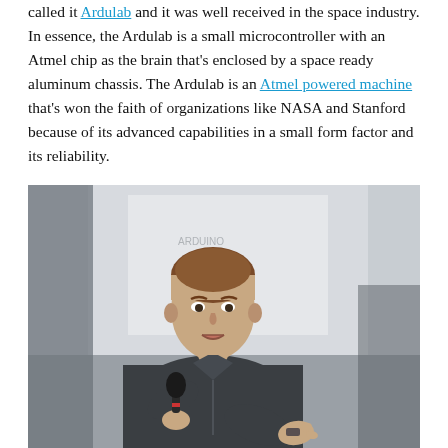called it Ardulab and it was well received in the space industry. In essence, the Ardulab is a small microcontroller with an Atmel chip as the brain that's enclosed by a space ready aluminum chassis. The Ardulab is an Atmel powered machine that's won the faith of organizations like NASA and Stanford because of its advanced capabilities in a small form factor and its reliability.
[Figure (photo): A young man in a dark button-up shirt speaking into a microphone and gesturing with his right hand, apparently giving a presentation. The background shows a whiteboard or projection screen.]